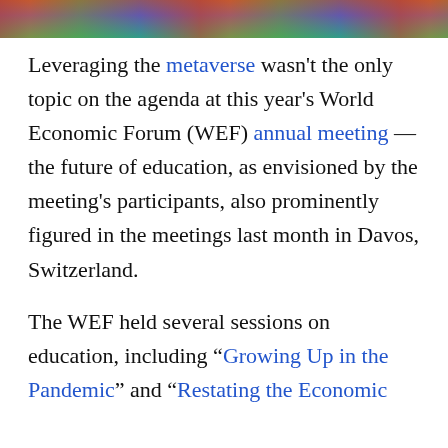[Figure (photo): Cropped photo strip at top of page showing people, partially visible]
Leveraging the metaverse wasn't the only topic on the agenda at this year's World Economic Forum (WEF) annual meeting — the future of education, as envisioned by the meeting's participants, also prominently figured in the meetings last month in Davos, Switzerland.
The WEF held several sessions on education, including “Growing Up in the Pandemic” and “Restating the Economic